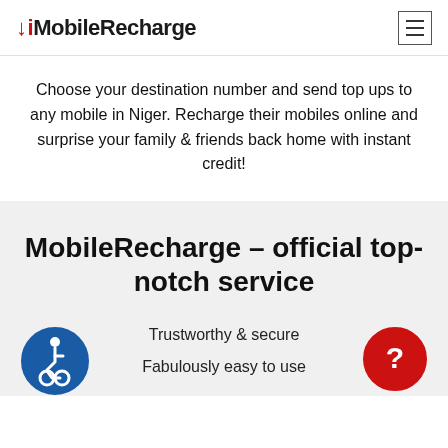MobileRecharge
Choose your destination number and send top ups to any mobile in Niger. Recharge their mobiles online and surprise your family & friends back home with instant credit!
MobileRecharge - official top-notch service
Trustworthy & secure
Fabulously easy to use